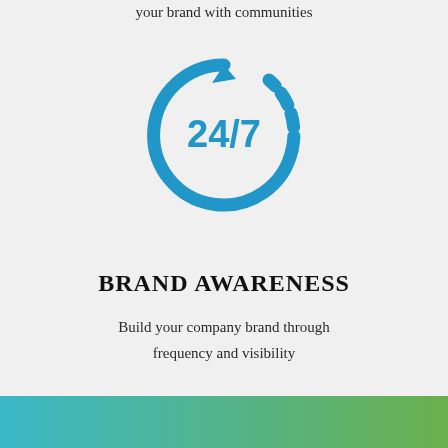your brand with communities
[Figure (illustration): 24/7 circular arrow icon in blue, showing a clock-like circle with a dashed segment on the right and an arrow at the top, with '24/7' text in bold blue inside]
BRAND AWARENESS
Build your company brand through frequency and visibility